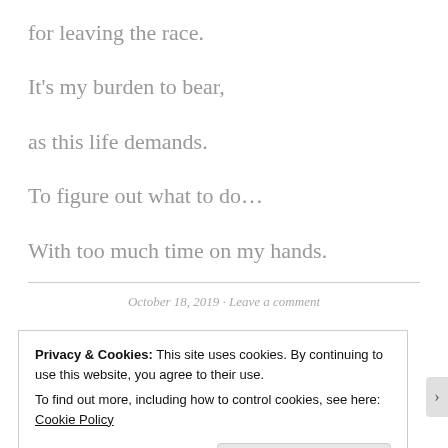for leaving the race.
It's my burden to bear,
as this life demands.
To figure out what to do…
With too much time on my hands.
October 18, 2019 · Leave a comment
Privacy & Cookies: This site uses cookies. By continuing to use this website, you agree to their use.
To find out more, including how to control cookies, see here: Cookie Policy